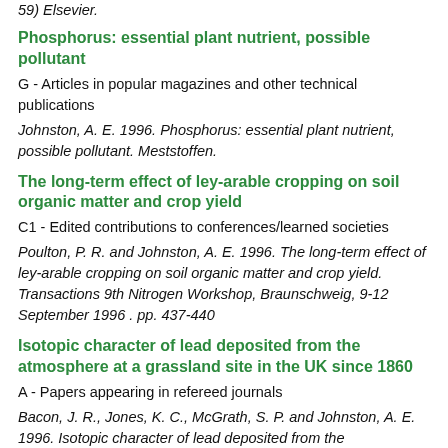59) Elsevier.
Phosphorus: essential plant nutrient, possible pollutant
G - Articles in popular magazines and other technical publications
Johnston, A. E. 1996. Phosphorus: essential plant nutrient, possible pollutant. Meststoffen.
The long-term effect of ley-arable cropping on soil organic matter and crop yield
C1 - Edited contributions to conferences/learned societies
Poulton, P. R. and Johnston, A. E. 1996. The long-term effect of ley-arable cropping on soil organic matter and crop yield. Transactions 9th Nitrogen Workshop, Braunschweig, 9-12 September 1996 . pp. 437-440
Isotopic character of lead deposited from the atmosphere at a grassland site in the UK since 1860
A - Papers appearing in refereed journals
Bacon, J. R., Jones, K. C., McGrath, S. P. and Johnston, A. E. 1996. Isotopic character of lead deposited from the